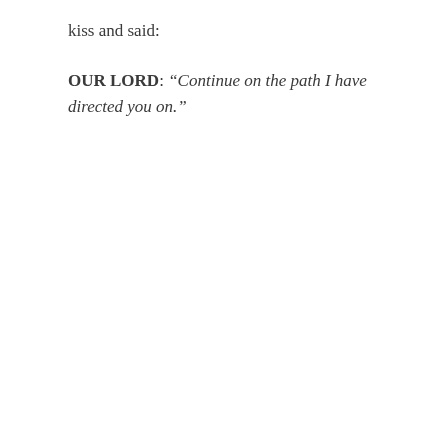kiss and said:
OUR LORD: “Continue on the path I have directed you on.”